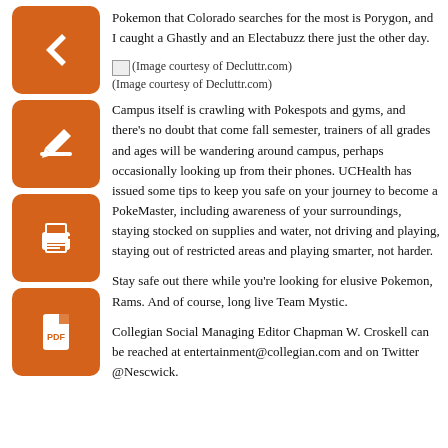Pokemon that Colorado searches for the most is Porygon, and I caught a Ghastly and an Electabuzz there just the other day.
(Image courtesy of Decluttr.com)
(Image courtesy of Decluttr.com)
Campus itself is crawling with Pokespots and gyms, and there’s no doubt that come fall semester, trainers of all grades and ages will be wandering around campus, perhaps occasionally looking up from their phones. UCHealth has issued some tips to keep you safe on your journey to become a PokeMaster, including awareness of your surroundings, staying stocked on supplies and water, not driving and playing, staying out of restricted areas and playing smarter, not harder.
Stay safe out there while you’re looking for elusive Pokemon, Rams. And of course, long live Team Mystic.
Collegian Social Managing Editor Chapman W. Croskell can be reached at entertainment@collegian.com and on Twitter @Nescwick.